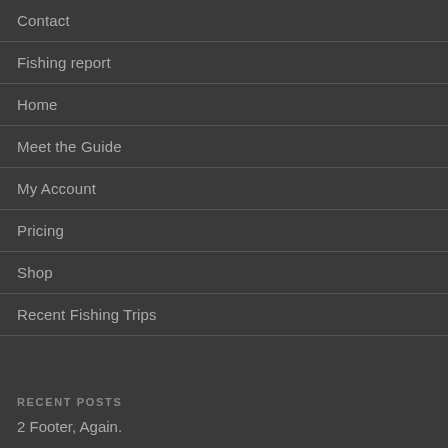Contact
Fishing report
Home
Meet the Guide
My Account
Pricing
Shop
Recent Fishing Trips
RECENT POSTS
2 Footer, Again.